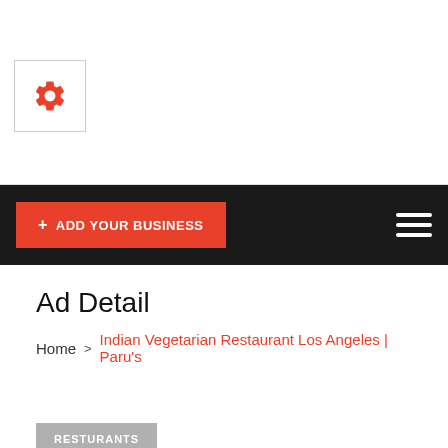[Figure (other): Settings gear icon in a bordered white box]
+ ADD YOUR BUSINESS
Ad Detail
Home > Indian Vegetarian Restaurant Los Angeles | Paru's
RESTURANTS